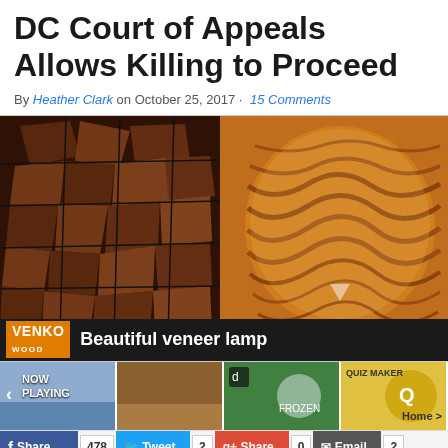DC Court of Appeals Allows Killing to Proceed
By Heather Clark on October 25, 2017 · 15 Comments
[Figure (screenshot): Video embed showing a wooden art wall on the left and a glowing veneer lamp on the right, with VENKO WOOD branding bar and caption 'Beautiful veneer lamp'. Below are video thumbnails including a 'NOW PLAYING' panel, additional video previews, and a 'Home >' navigation element.]
Share 478  Tweet 2  Share 0  Email 2